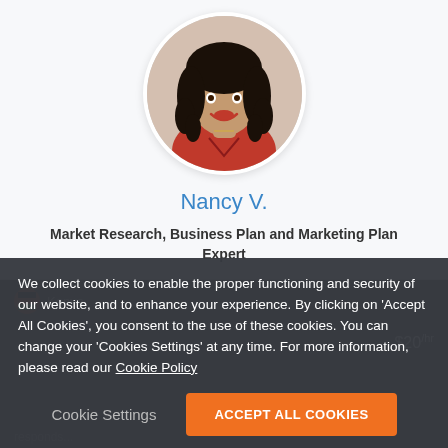[Figure (photo): Circular profile photo of Nancy V., a woman wearing a red top, smiling, with curly dark hair]
Nancy V.
Market Research, Business Plan and Marketing Plan Expert
Kenya
We collect cookies to enable the proper functioning and security of our website, and to enhance your experience. By clicking on 'Accept All Cookies', you consent to the use of these cookies. You can change your 'Cookies Settings' at any time. For more information, please read our Cookie Policy
$20/hr
responds...
Cookie Settings
ACCEPT ALL COOKIES